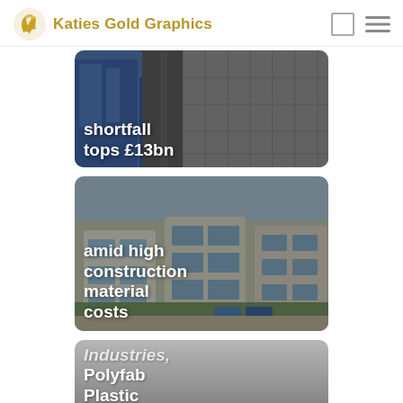Katies Gold Graphics
[Figure (photo): Aerial view of urban construction/industrial scene with blue building and paved rooftops. Text overlay: 'shortfall tops £13bn']
[Figure (photo): Aerial view of modern residential apartment buildings with greenery and parked cars. Text overlay: 'amid high construction material costs']
[Figure (photo): Gray gradient placeholder card with text overlay: 'Industries, Polyfab Plastic Industry']